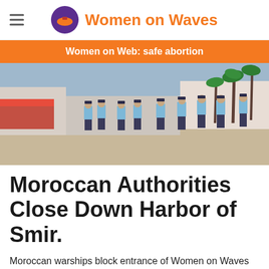Women on Waves
Women on Web: safe abortion
[Figure (photo): Group of Moroccan police officers in light blue uniforms standing in an open plaza near a harbor, palm trees and white buildings in the background.]
Moroccan Authorities Close Down Harbor of Smir.
Moroccan warships block entrance of Women on Waves ship in the harbor of Smir.
The Moroccan authorities have taken action against